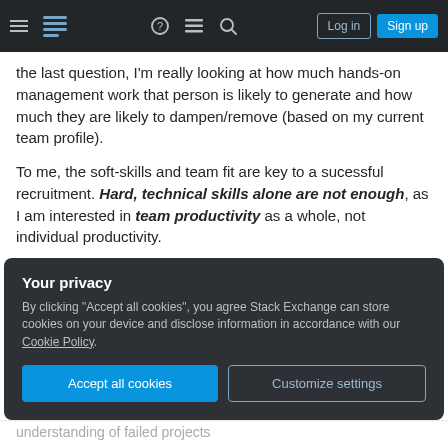Stack Exchange navigation bar with Log in and Sign up buttons
the last question, I'm really looking at how much hands-on management work that person is likely to generate and how much they are likely to dampen/remove (based on my current team profile).
To me, the soft-skills and team fit are key to a sucessful recruitment. Hard, technical skills alone are not enough, as I am interested in team productivity as a whole, not individual productivity.
The key areas are:
Your privacy
By clicking "Accept all cookies", you agree Stack Exchange can store cookies on your device and disclose information in accordance with our Cookie Policy.
understanding of failed projects